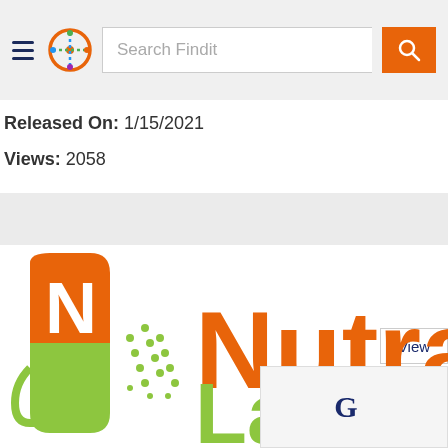Search Findit
Released On: 1/15/2021
Views: 2058
View
[Figure (logo): Nutracap Labs logo with orange and green capsule icon and orange/green text]